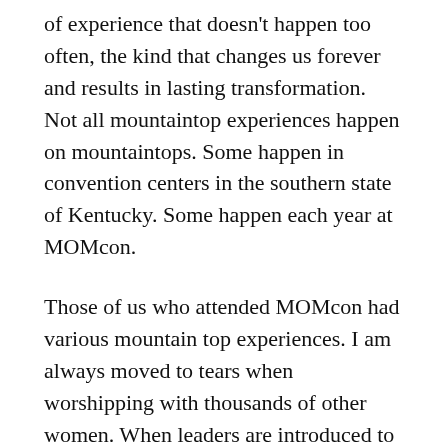of experience that doesn't happen too often, the kind that changes us forever and results in lasting transformation. Not all mountaintop experiences happen on mountaintops. Some happen in convention centers in the southern state of Kentucky. Some happen each year at MOMcon.
Those of us who attended MOMcon had various mountain top experiences. I am always moved to tears when worshipping with thousands of other women. When leaders are introduced to one another in what I believe are God